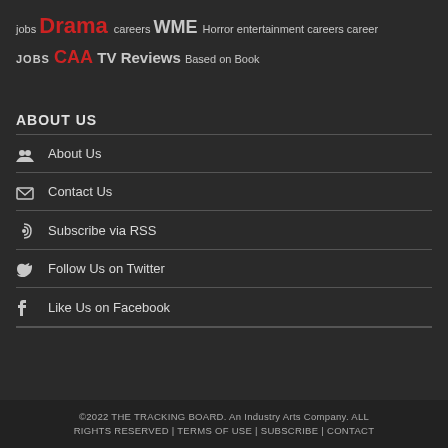jobs Drama careers WME Horror entertainment careers career JOBS CAA TV Reviews Based on Book
ABOUT US
About Us
Contact Us
Subscribe via RSS
Follow Us on Twitter
Like Us on Facebook
©2022 THE TRACKING BOARD. An Industry Arts Company. ALL RIGHTS RESERVED | TERMS OF USE | SUBSCRIBE | CONTACT